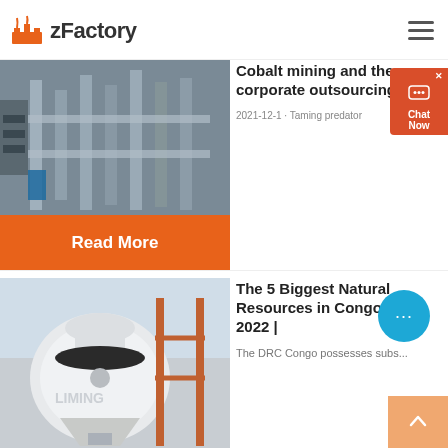zFactory
[Figure (photo): Industrial factory piping and equipment, grayscale tones]
Cobalt mining and the corporate outsourcing of ...
2021-12-1 · Taming predator
Read More
[Figure (photo): White industrial crusher/mill machine with LIMING branding]
The 5 Biggest Natural Resources in Congo DRC 2022 |
The DRC Congo possesses subs...